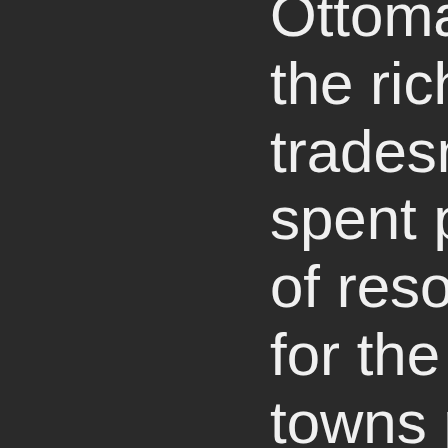Ottoman rule, the rich tradesmen spent plenty of resources for the small towns public planning. The first Bulgarian secular school, the Aprilov National High School, was founded in Gabrovo in 1835 with the aid of Vasil